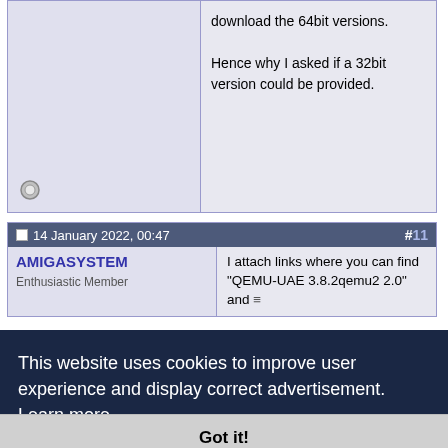download the 64bit versions.

Hence why I asked if a 32bit version could be provided.
14 January 2022, 00:47   #11
AMIGASYSTEM
I attach links where you can find "QEMU-UAE 3.8.2qemu2 2.0" and
This website uses cookies to improve user experience and display correct advertisement.  Learn more
Got it!